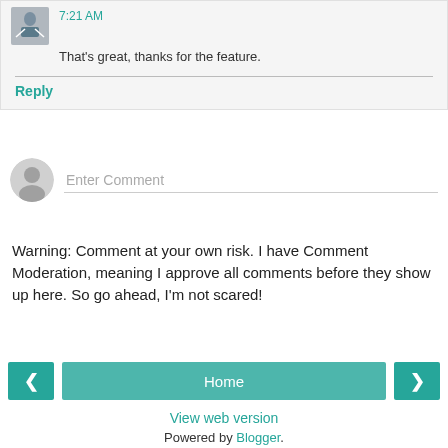7:21 AM
That's great, thanks for the feature.
Reply
Enter Comment
Warning: Comment at your own risk. I have Comment Moderation, meaning I approve all comments before they show up here. So go ahead, I'm not scared!
Home
View web version
Powered by Blogger.